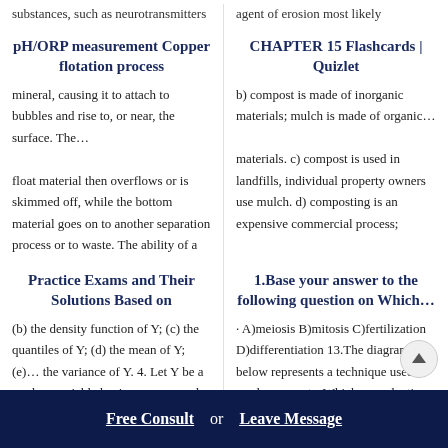substances, such as neurotransmitters
agent of erosion most likely
pH/ORP measurement Copper flotation process
CHAPTER 15 Flashcards | Quizlet
mineral, causing it to attach to bubbles and rise to, or near, the surface. The… float material then overflows or is skimmed off, while the bottom material goes on to another separation process or to waste. The ability of a
b) compost is made of inorganic materials; mulch is made of organic… materials. c) compost is used in landfills, individual property owners use mulch. d) composting is an expensive commercial process;
Practice Exams and Their Solutions Based on
1.Base your answer to the following question on Which…
(b) the density function of Y; (c) the quantiles of Y; (d) the mean of Y; (e)… the variance of Y. 4. Let Y be a random variable having mean μ and suppose
· A)meiosis B)mitosis C)fertilization D)differentiation 13.The diagram… below represents a technique used to produce carrots. Which reproductive
Free Consult  or  Leave Message